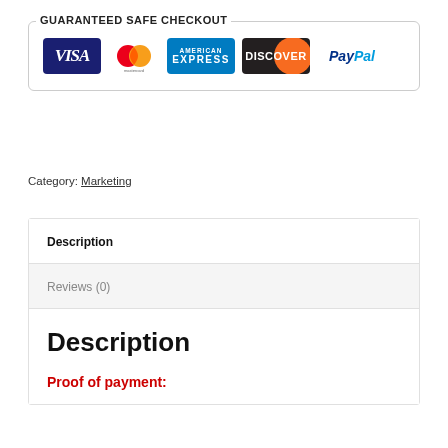GUARANTEED SAFE CHECKOUT
[Figure (logo): Payment method logos: Visa, Mastercard, American Express, Discover, PayPal]
Category: Marketing
| Description |
| Reviews (0) |
Description
Proof of payment: